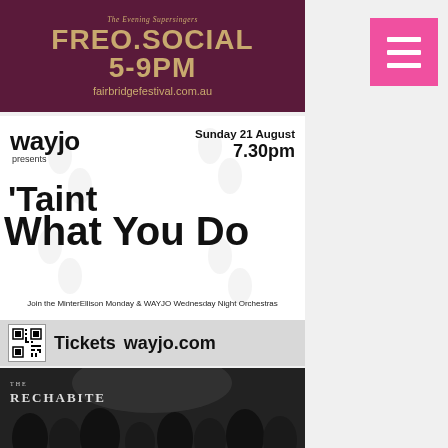[Figure (infographic): FREO.SOCIAL event banner on dark purple/maroon background with gold text: subtitle 'The Evening Supersingers', FREO.SOCIAL, 5-9PM, fairbridgefestival.com.au]
[Figure (infographic): WAYJO presents event flyer: Sunday 21 August 7.30pm, 'Taint What You Do, Join the MinterEllison Monday & WAYJO Wednesday Night Orchestras. Tickets wayjo.com with QR code. THE RECHABITE venue branding and crowd photo below.]
[Figure (infographic): Pink hamburger menu button in top right corner]